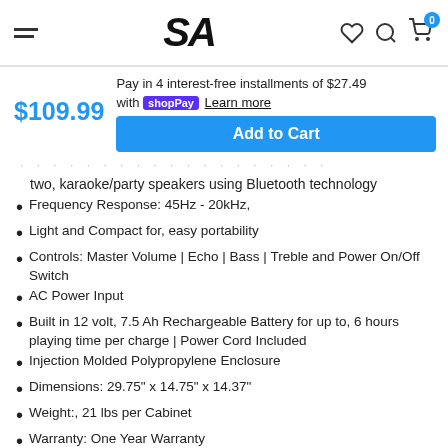SA (logo header with menu, wishlist, search, cart icons)
$109.99
Pay in 4 interest-free installments of $27.49 with shop Pay Learn more
Add to Cart
two, karaoke/party speakers using Bluetooth technology
Frequency Response: 45Hz - 20kHz,
Light and Compact for, easy portability
Controls: Master Volume | Echo | Bass | Treble and Power On/Off Switch
AC Power Input
Built in 12 volt, 7.5 Ah Rechargeable Battery for up to, 6 hours playing time per charge | Power Cord Included
Injection Molded Polypropylene Enclosure
Dimensions: 29.75" x 14.75" x 14.37"
Weight:, 21 lbs per Cabinet
Warranty: One Year Warranty